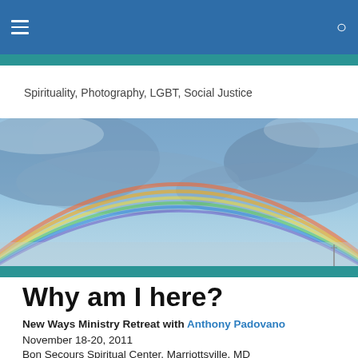≡  🔍
Spirituality, Photography, LGBT, Social Justice
[Figure (photo): Wide panoramic photograph of a rainbow arching across a cloudy blue-grey sky]
Why am I here?
New Ways Ministry Retreat with Anthony Padovano
November 18-20, 2011
Bon Secours Spiritual Center, Marriottsville, MD